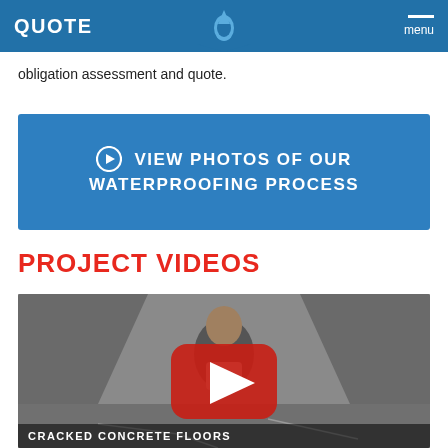QUOTE / menu
obligation assessment and quote.
[Figure (other): Blue banner with call-to-action: circle arrow icon followed by text VIEW PHOTOS OF OUR WATERPROOFING PROCESS in white bold uppercase on a blue background]
PROJECT VIDEOS
[Figure (screenshot): Video thumbnail showing a man standing in a basement with cracked concrete walls, with a red YouTube play button overlay in center, and caption bar at the bottom reading CRACKED CONCRETE FLOORS]